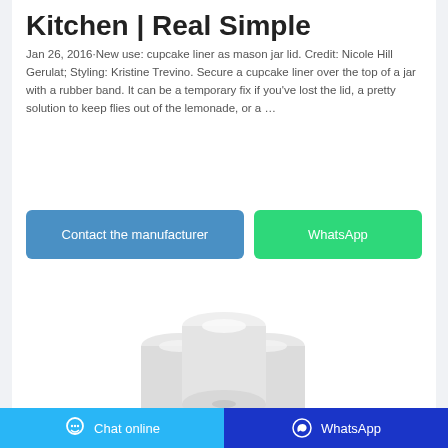Kitchen | Real Simple
Jan 26, 2016·New use: cupcake liner as mason jar lid. Credit: Nicole Hill Gerulat; Styling: Kristine Trevino. Secure a cupcake liner over the top of a jar with a rubber band. It can be a temporary fix if you've lost the lid, a pretty solution to keep flies out of the lemonade, or a …
[Figure (other): Two buttons: 'Contact the manufacturer' (blue) and 'WhatsApp' (green)]
[Figure (photo): Three white cylindrical rolls stacked in a pyramid arrangement on a white background]
Chat online   WhatsApp